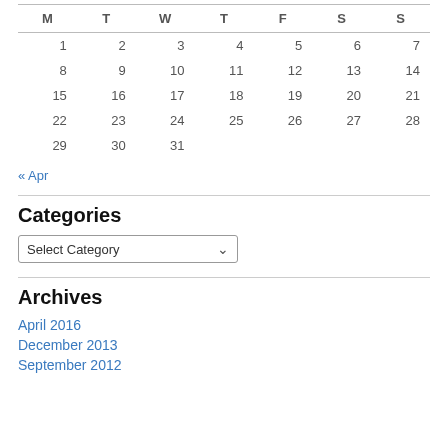| M | T | W | T | F | S | S |
| --- | --- | --- | --- | --- | --- | --- |
| 1 | 2 | 3 | 4 | 5 | 6 | 7 |
| 8 | 9 | 10 | 11 | 12 | 13 | 14 |
| 15 | 16 | 17 | 18 | 19 | 20 | 21 |
| 22 | 23 | 24 | 25 | 26 | 27 | 28 |
| 29 | 30 | 31 |  |  |  |  |
« Apr
Categories
[Figure (other): Select Category dropdown widget]
Archives
April 2016
December 2013
September 2012